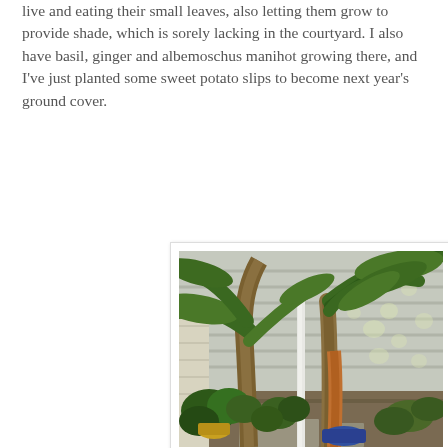live and eating their small leaves, also letting them grow to provide shade, which is sorely lacking in the courtyard. I also have basil, ginger and albemoschus manihot growing there, and I've just planted some sweet potato slips to become next year's ground cover.
[Figure (photo): A garden courtyard scene showing large banana or tropical plants with big green leaves growing against a grey siding wall. Various other plants fill the foreground including smaller leafy plants. A white pole or post is visible. Dappled light on the wall suggests a shaded area.]